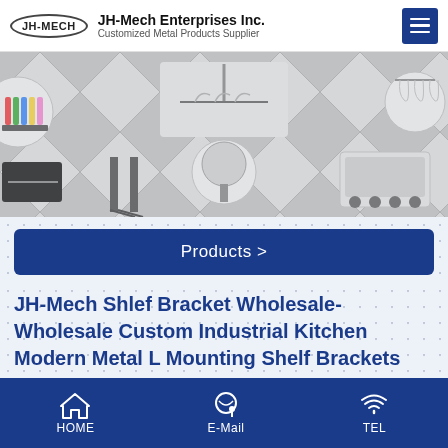JH-Mech Enterprises Inc. | Customized Metal Products Supplier
[Figure (photo): Banner image showing a diamond/rhombus grid pattern with various metal product photos: paper roll holder, garment hangers, hairpin table legs, shelf bracket, wine glass rack, rolling platform dolly, mirror, coat hooks, and other metal accessories.]
Products >
JH-Mech Shlef Bracket Wholesale-Wholesale Custom Industrial Kitchen Modern Metal L Mounting Shelf Brackets
[Figure (photo): Partial product photo showing a plant with green leaves against a white/light background, likely showing a shelf or bracket with a plant decoration.]
HOME | E-Mail | TEL